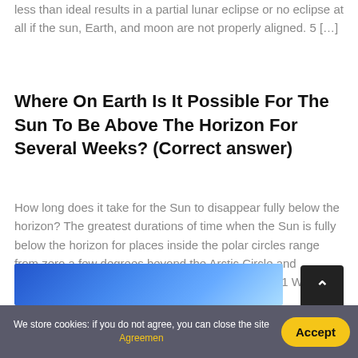less than ideal results in a partial lunar eclipse or no eclipse at all if the sun, Earth, and moon are not properly aligned. 5 […]
Where On Earth Is It Possible For The Sun To Be Above The Horizon For Several Weeks? (Correct answer)
How long does it take for the Sun to disappear fully below the horizon? The greatest durations of time when the Sun is fully below the horizon for places inside the polar circles range from zero a few degrees beyond the Arctic Circle and Antarctic Circle to 179 days at the Poles. Contents1 Where on […]
[Figure (photo): Partial image strip at the bottom showing a blue-themed photograph]